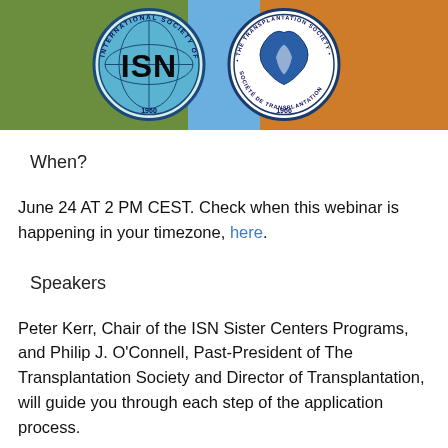[Figure (logo): Header banner with green, blue, and orange background sections containing ISN (International Society of Nephrology) and The Transplantation Society logos/seals]
When?
June 24 AT 2 PM CEST. Check when this webinar is happening in your timezone, here.
Speakers
Peter Kerr, Chair of the ISN Sister Centers Programs, and Philip J. O'Connell, Past-President of The Transplantation Society and Director of Transplantation, will guide you through each step of the application process.